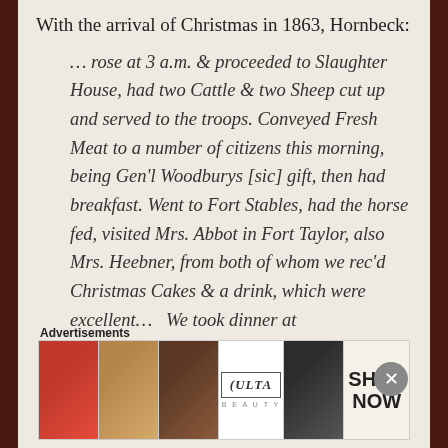With the arrival of Christmas in 1863, Hornbeck:
… rose at 3 a.m. & proceeded to Slaughter House, had two Cattle & two Sheep cut up and served to the troops. Conveyed Fresh Meat to a number of citizens this morning, being Gen'l Woodburys [sic] gift, then had breakfast. Went to Fort Stables, had the horse fed, visited Mrs. Abbot in Fort Taylor, also Mrs. Heebner, from both of whom we rec'd Christmas Cakes & a drink, which were excellent… We took dinner at
Advertisements
[Figure (photo): Advertisement banner for Ulta Beauty featuring close-up photos of lips with lipstick, makeup brush, eye with makeup, Ulta logo, another eye, and a Shop Now button]